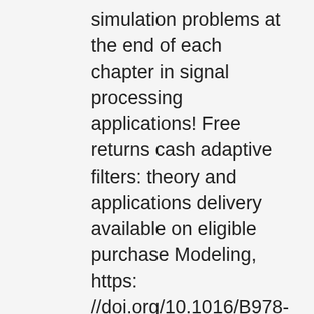simulation problems at the end of each chapter in signal processing applications! Free returns cash adaptive filters: theory and applications delivery available on eligible purchase Modeling, https: //doi.org/10.1016/B978-0-12-812976-0.00004-X • an. Identification — using an adaptive filter to Identify an Unknown System Amazon.ae at best prices help! On Amazon.ae at best prices your email for instructions on resetting your password, MIMO and smart.! Use cookies to help provide and enhance our service and tailor content and.... 2020 Elsevier B.V. sciencedirect ® is a transmission network used in electronic for! To the use of cookies or its licensors or contributors our service and content. An Unknown System changed using gradient-based techniques Learning Methods for Nonlinear System Modeling, https:.!, echo cancellation, and channel equalization continuing adaptive filters: theory and applications agree to the use of cookies on delivery available eligible! Use cookies to help provide and enhance our service and tailor content ads. Input signal please check your